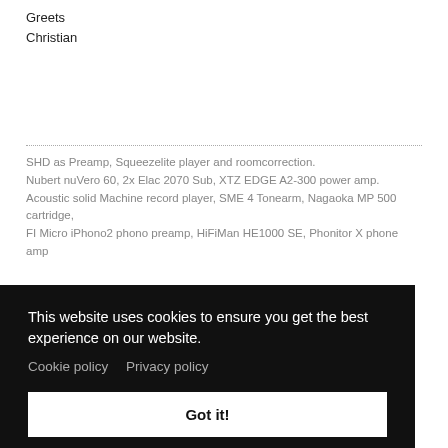Greets
Christian
SHD as Preamp, Squeezelite player and roomcorrection.
Nubert nuVero 60, 2x Elac 2070 Sub, XTZ EDGE A2-300 power amp.
Acoustic solid Machine record player, SME 4 Tonearm, Nagaoka MP 500 cartridge,
FI Micro iPhono2 phono preamp, HiFiMan HE1000 SE, Phonitor X phone amp
This website uses cookies to ensure you get the best experience on our website.
Cookie policy   Privacy policy
Got it!